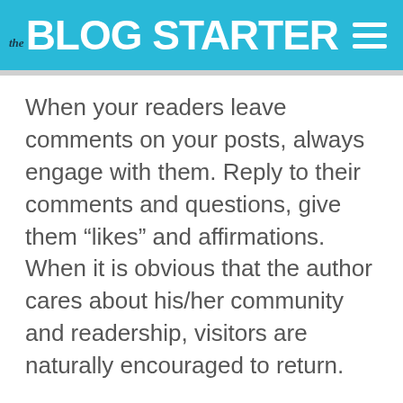the BLOG STARTER
When your readers leave comments on your posts, always engage with them. Reply to their comments and questions, give them “likes” and affirmations. When it is obvious that the author cares about his/her community and readership, visitors are naturally encouraged to return.
Collaborate with other bloggers
Become enmeshed in your blogging community by collaborating with respected members of your field